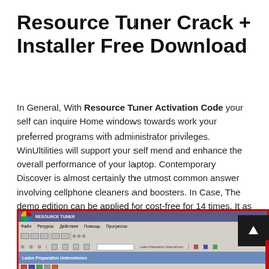Resource Tuner Crack + Installer Free Download
In General, With Resource Tuner Activation Code your self can inquire Home windows towards work your preferred programs with administrator privileges. WinUltilities will support your self mend and enhance the overall performance of your laptop. Contemporary Discover is almost certainly the utmost common answer involving cellphone cleaners and boosters. In Case, The demo edition can be applied for cost-free for 14 times. It as well includes unbelievable safety that operates 24 hrs a working day.
[Figure (screenshot): Screenshot of Resource Tuner software application window showing the program interface with a list of resources on the left and a preview panel on the right displaying a colorful light effect with 'Fxserlock' text at the bottom.]